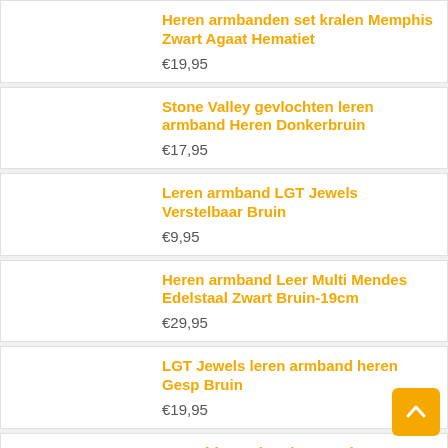Heren armbanden set kralen Memphis Zwart Agaat Hematiet
€19,95
Stone Valley gevlochten leren armband Heren Donkerbruin
€17,95
Leren armband LGT Jewels Verstelbaar Bruin
€9,95
Heren armband Leer Multi Mendes Edelstaal Zwart Bruin-19cm
€29,95
LGT Jewels leren armband heren Gesp Bruin
€19,95
Memphis armband Frosted Agaat Gold Skull
€17,95